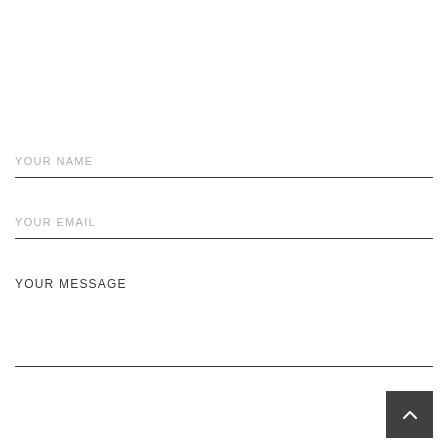YOUR NAME
YOUR EMAIL
YOUR MESSAGE